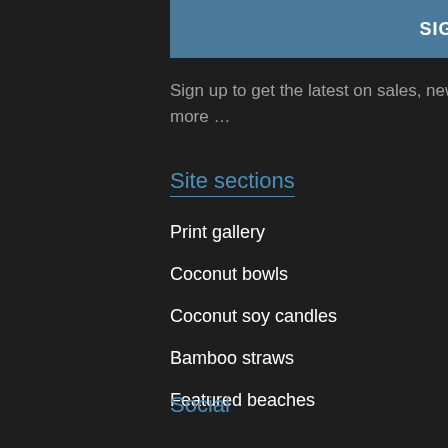SIGN UP
Sign up to get the latest on sales, new releases and more …
Site sections
Print gallery
Coconut bowls
Coconut soy candles
Bamboo straws
Featured beaches
Social